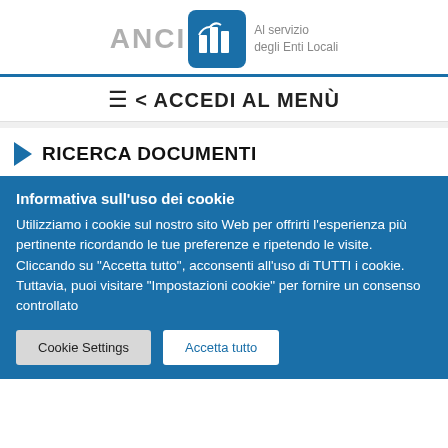[Figure (logo): ANCI FVG logo — grey ANCI text, blue rounded square with white FVG text and building icon, text 'Al servizio degli Enti Locali']
≡ < ACCEDI AL MENÙ
▶ RICERCA DOCUMENTI
Informativa sull'uso dei cookie
Utilizziamo i cookie sul nostro sito Web per offrirti l'esperienza più pertinente ricordando le tue preferenze e ripetendo le visite. Cliccando su "Accetta tutto", acconsenti all'uso di TUTTI i cookie. Tuttavia, puoi visitare "Impostazioni cookie" per fornire un consenso controllato
Cookie Settings   Accetta tutto